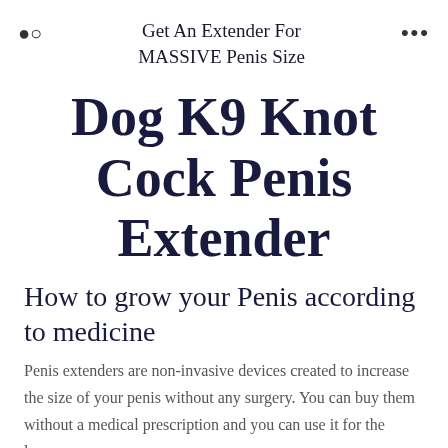Get An Extender For MASSIVE Penis Size
Dog K9 Knot Cock Penis Extender
How to grow your Penis according to medicine
Penis extenders are non-invasive devices created to increase the size of your penis without any surgery. You can buy them without a medical prescription and you can use it for the longer...